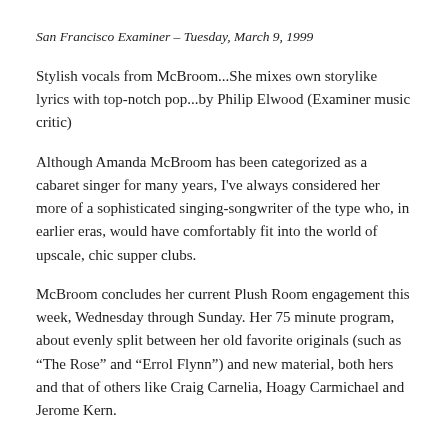San Francisco Examiner – Tuesday, March 9, 1999
Stylish vocals from McBroom...She mixes own storylike lyrics with top-notch pop...by Philip Elwood (Examiner music critic)
Although Amanda McBroom has been categorized as a cabaret singer for many years, I've always considered her more of a sophisticated singing-songwriter of the type who, in earlier eras, would have comfortably fit into the world of upscale, chic supper clubs.
McBroom concludes her current Plush Room engagement this week, Wednesday through Sunday. Her 75 minute program, about evenly split between her old favorite originals (such as “The Rose” and “Errol Flynn”) and new material, both hers and that of others like Craig Carnelia, Hoagy Carmichael and Jerome Kern.